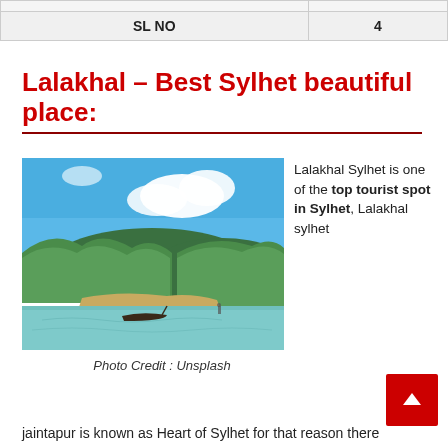|  |  |
| SL NO | 4 |
Lalakhal – Best Sylhet beautiful place:
[Figure (photo): Scenic river landscape with green forested hills, sandy bank, a long narrow boat on calm turquoise water, and blue sky with white clouds — Lalakhal, Sylhet]
Lalakhal Sylhet is one of the top tourist spot in Sylhet, Lalakhal sylhet
Photo Credit : Unsplash
jaintapur is known as Heart of Sylhet for that reason there